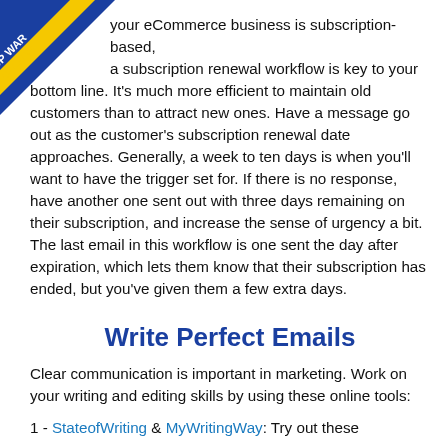[Figure (illustration): Diagonal banner in top-left corner with blue and yellow colors reading 'STOP WAR IN UKRAINE']
your eCommerce business is subscription-based, a subscription renewal workflow is key to your bottom line. It's much more efficient to maintain old customers than to attract new ones. Have a message go out as the customer's subscription renewal date approaches. Generally, a week to ten days is when you'll want to have the trigger set for. If there is no response, have another one sent out with three days remaining on their subscription, and increase the sense of urgency a bit. The last email in this workflow is one sent the day after expiration, which lets them know that their subscription has ended, but you've given them a few extra days.
Write Perfect Emails
Clear communication is important in marketing. Work on your writing and editing skills by using these online tools:
1 - StateofWriting & MyWritingWay: Try out these